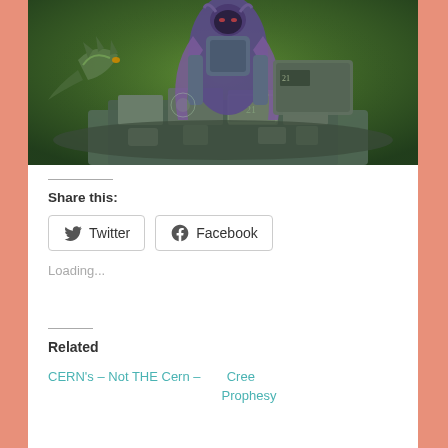[Figure (illustration): Fantasy illustration showing a large armored creature or demon figure with horns and a purple cloak, standing on or near rocky ruins and stone structures, with a green atmospheric background. A dragon-like creature is visible to the left.]
Share this:
Twitter  Facebook
Loading...
Related
CERN's – Not THE Cern –
Cree Prophesy